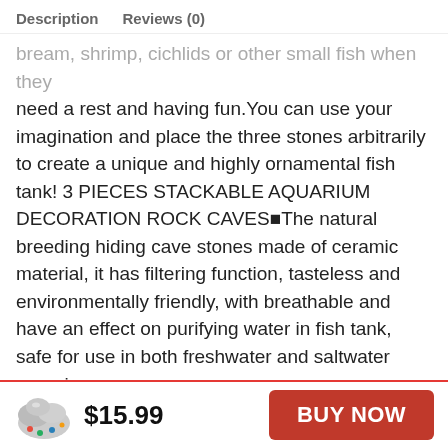Description   Reviews (0)
bream, shrimp, cichlids or other small fish when they need a rest and having fun.You can use your imagination and place the three stones arbitrarily to create a unique and highly ornamental fish tank! 3 PIECES STACKABLE AQUARIUM DECORATION ROCK CAVES■The natural breeding hiding cave stones made of ceramic material, it has filtering function, tasteless and environmentally friendly, with breathable and have an effect on purifying water in fish tank, safe for use in both freshwater and saltwater aquariums. LITTLE HIDEOUT CAVES FOR BETTA OR ANY SMALL FISH: A modern art sculptural look is sculptural look
$15.99
BUY NOW